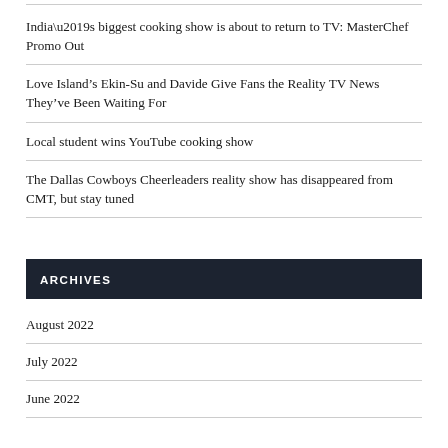India’s biggest cooking show is about to return to TV: MasterChef Promo Out
Love Island’s Ekin-Su and Davide Give Fans the Reality TV News They’ve Been Waiting For
Local student wins YouTube cooking show
The Dallas Cowboys Cheerleaders reality show has disappeared from CMT, but stay tuned
ARCHIVES
August 2022
July 2022
June 2022